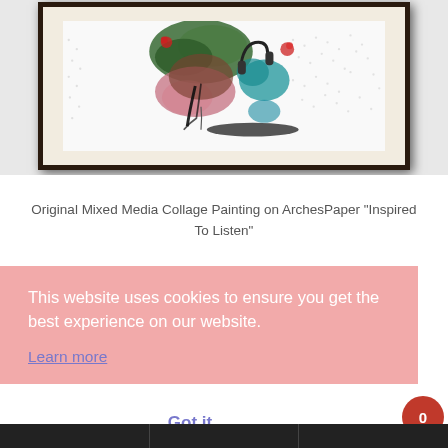[Figure (illustration): Framed mixed media collage painting on Arches paper — abstract artwork with green, pink, teal, red, and black paint strokes on white background, displayed in a dark brown frame with cream mat]
Original Mixed Media Collage Painting on ArchesPaper "Inspired To Listen"
This website uses cookies to ensure you get the best experience on our website.
Learn more
Got it